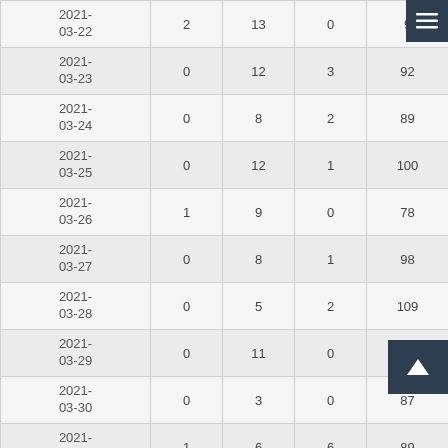| Date |  |  |  |  |
| --- | --- | --- | --- | --- |
| 2021-03-22 | 2 | 13 | 0 | 9… |
| 2021-03-23 | 0 | 12 | 3 | 92 |
| 2021-03-24 | 0 | 8 | 2 | 89 |
| 2021-03-25 | 0 | 12 | 1 | 100 |
| 2021-03-26 | 1 | 9 | 0 | 78 |
| 2021-03-27 | 0 | 8 | 1 | 98 |
| 2021-03-28 | 0 | 5 | 2 | 109 |
| 2021-03-29 | 0 | 11 | 0 | 92 |
| 2021-03-30 | 0 | 3 | 0 | 87 |
| 2021-03-31 | 1 | 6 | 6 | 89 |
| + February 2021 | 5 | 248 | 44 | 122 |
| + January 2021 | 4 | 209 | 40 | 1… |
| + 2020 | 263 | 2926 | 1249 | 246 |
| + 2019 | 122 | 1742 | 105 | 220… |